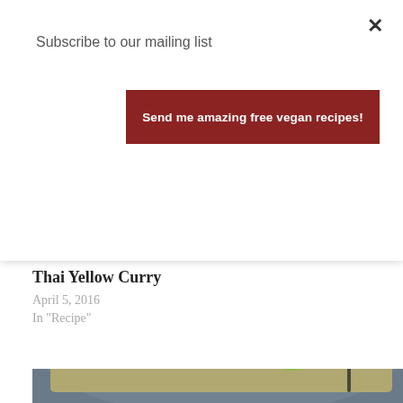Subscribe to our mailing list
×
Send me amazing free vegan recipes!
[Figure (photo): Thai Yellow Curry dish — a bowl of orange-yellow curry soup with noodles, potato chunks, and green vegetables]
Thai Yellow Curry
April 5, 2016
In "Recipe"
[Figure (photo): A bowl of salad with chopped nuts, green lettuce leaves, and a fork — partially visible at bottom of page]